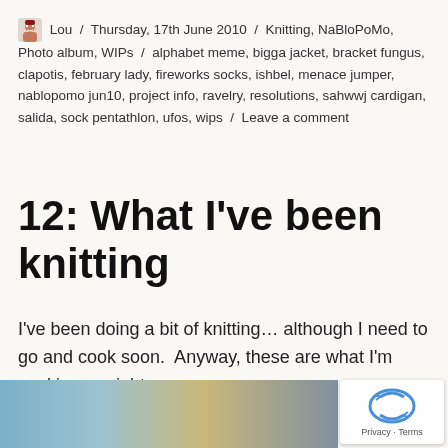Lou / Thursday, 17th June 2010 / Knitting, NaBloPoMo, Photo album, WIPs / alphabet meme, bigga jacket, bracket fungus, clapotis, february lady, fireworks socks, ishbel, menace jumper, nablopomo jun10, project info, ravelry, resolutions, sahwwj cardigan, salida, sock pentathlon, ufos, wips / Leave a comment
12: What I've been knitting
I've been doing a bit of knitting… although I need to go and cook soon.  Anyway, these are what I'm working on right now:
[Figure (photo): Partial photo of knitting project on a table, showing blue and multicolored yarn/knitting in progress]